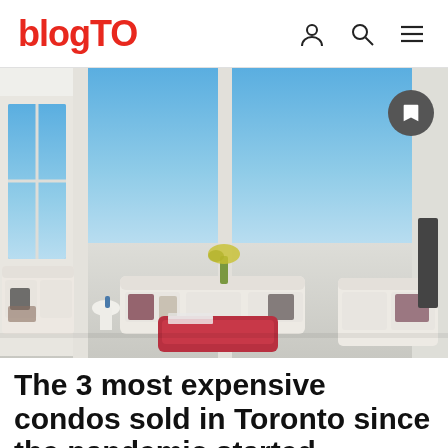blogTO
[Figure (photo): Interior of a luxury high-rise condo with floor-to-ceiling windows overlooking a city skyline. White and cream furniture including sofas and a red coffee table. Blue sky visible through large windows.]
The 3 most expensive condos sold in Toronto since the pandemic started